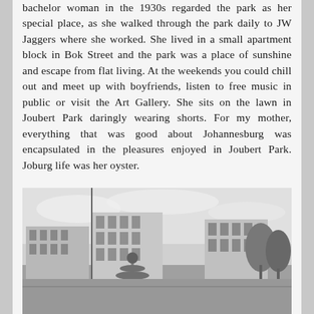bachelor woman in the 1930s regarded the park as her special place, as she walked through the park daily to JW Jaggers where she worked. She lived in a small apartment block in Bok Street and the park was a place of sunshine and escape from flat living. At the weekends you could chill out and meet up with boyfriends, listen to free music in public or visit the Art Gallery. She sits on the lawn in Joubert Park daringly wearing shorts. For my mother, everything that was good about Johannesburg was encapsulated in the pleasures enjoyed in Joubert Park. Joburg life was her oyster.
[Figure (photo): Black and white historical photograph of Joubert Park area in Johannesburg showing a fountain, buildings, and trees]